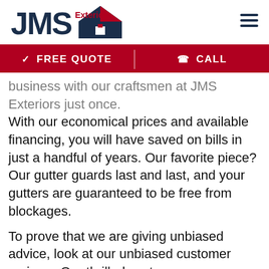JMS Exteriors — navigation header with logo and hamburger menu
FREE QUOTE   CALL
business with our craftsmen at JMS Exteriors just once. With our economical prices and available financing, you will have saved on bills in just a handful of years. Our favorite piece? Our gutter guards last and last, and your gutters are guaranteed to be free from blockages.
To prove that we are giving unbiased advice, look at our unbiased customer reviews. Our thrilled customers are evidence that our gutter guards consistently work, and keep on working!
JMS Exteriors gutter guards for